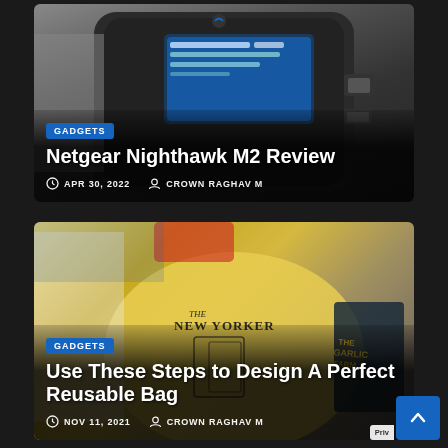[Figure (photo): Netgear Nighthawk M2 mobile WiFi hotspot device, dark colored with screen showing data usage, against dark background]
GADGETS
Netgear Nighthawk M2 Review
APR 30, 2022   CROWN RAGHAV M
[Figure (photo): Yellow New Yorker tote bag surrounded by other shopping bags and garlic farm bag in background]
GADGETS
Use These Steps to Design A Perfect Reusable Bag
NOV 11, 2021   CROWN RAGHAV M